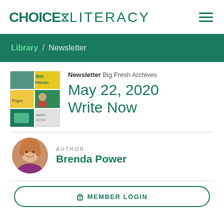CHOICE LITERACY (logo with hamburger menu)
Library / Newsletter
[Figure (photo): Big Fresh newsletter cover collage showing multiple images of people, books, and classroom scenes]
Newsletter  Big Fresh Archives
May 22, 2020 Write Now
AUTHOR
[Figure (photo): Circular headshot photo of Brenda Power, a woman with blonde/auburn hair]
Brenda Power
MEMBER LOGIN